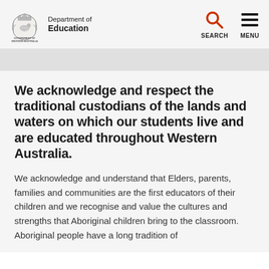Department of Education — Government of Western Australia
We acknowledge and respect the traditional custodians of the lands and waters on which our students live and are educated throughout Western Australia.
We acknowledge and understand that Elders, parents, families and communities are the first educators of their children and we recognise and value the cultures and strengths that Aboriginal children bring to the classroom. Aboriginal people have a long tradition of